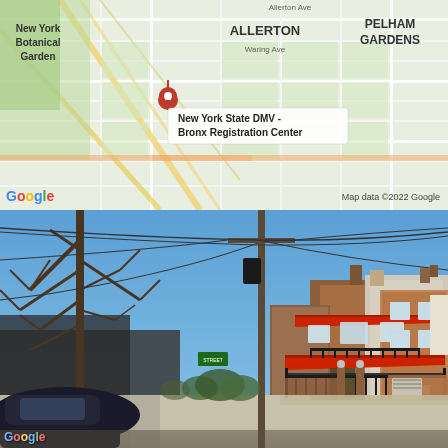[Figure (map): Google Maps screenshot showing the Allerton neighborhood in the Bronx, NY. Shows New York Botanical Garden on the left, Allerton area in the center with Waring Ave label, Pelham Gardens on the right, and a pin for New York State DMV - Bronx Registration Center. Map data ©2022 Google.]
[Figure (photo): Street-level Google Street View photo of a brick residential building with a red awning/canopy on the ground and second floor, black iron gate, utility pole with power lines, bare trees, blue sky. Adjacent brick rowhouses visible to the right.]